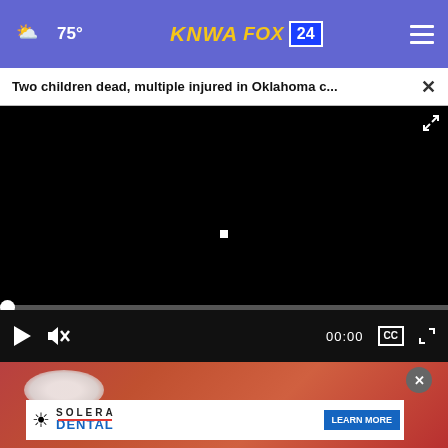75° KNWA FOX 24
Two children dead, multiple injured in Oklahoma c...
[Figure (screenshot): Black video player screen with a small white square indicator in the center, video controls bar showing play button, mute button, 00:00 timestamp, CC and fullscreen icons]
[Figure (photo): Close-up photo of what appears to be white granular substance (salt or drug) with reddish flesh-toned background, partially visible]
[Figure (other): Solera Dental advertisement banner with sun logo, SOLERA DENTAL text, and LEARN MORE button in blue]